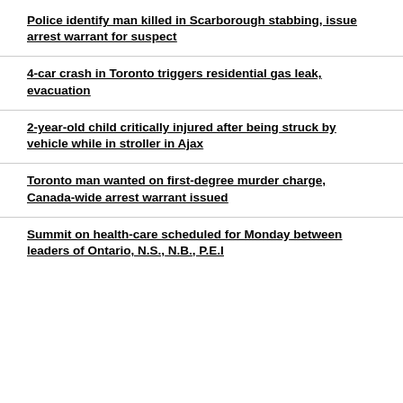Police identify man killed in Scarborough stabbing, issue arrest warrant for suspect
4-car crash in Toronto triggers residential gas leak, evacuation
2-year-old child critically injured after being struck by vehicle while in stroller in Ajax
Toronto man wanted on first-degree murder charge, Canada-wide arrest warrant issued
Summit on health-care scheduled for Monday between leaders of Ontario, N.S., N.B., P.E.I